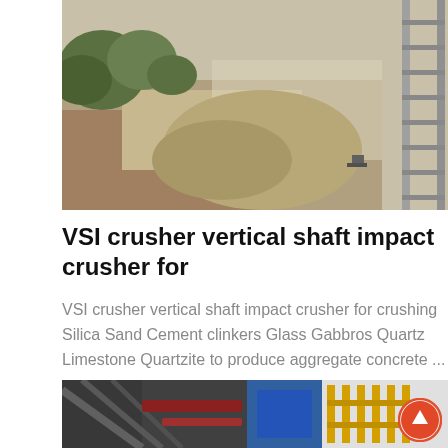[Figure (photo): Aerial/ground view of a quarry or mining site with rocky terrain, vegetation, and industrial equipment including a metal ladder/structure on the right side.]
VSI crusher vertical shaft impact crusher for
VSI crusher vertical shaft impact crusher for crushing Silica Sand Cement clinkers Glass Gabbros Quartz Limestone Quartzite to produce aggregate concrete ...
[Figure (photo): Industrial equipment photo showing metal structures, conveyor belts, and scaffolding in a facility setting with blue and orange elements visible.]